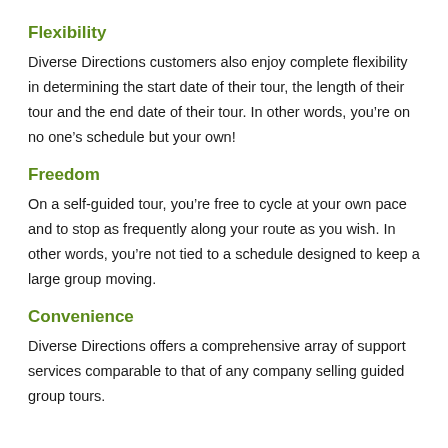Flexibility
Diverse Directions customers also enjoy complete flexibility in determining the start date of their tour, the length of their tour and the end date of their tour. In other words, you’re on no one’s schedule but your own!
Freedom
On a self-guided tour, you’re free to cycle at your own pace and to stop as frequently along your route as you wish. In other words, you’re not tied to a schedule designed to keep a large group moving.
Convenience
Diverse Directions offers a comprehensive array of support services comparable to that of any company selling guided group tours.